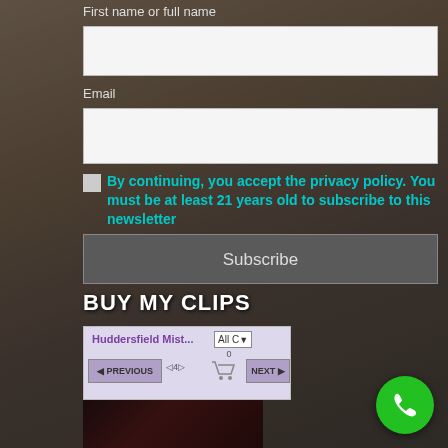First name or full name
[Figure (screenshot): White input field for first name or full name]
Email
[Figure (screenshot): White input field for email]
By continuing, you accept the privacy policy. You must be at least 21 years old to subscribe to this newsletter
[Figure (screenshot): Subscribe button (dark gray)]
BUY MY CLIPS
[Figure (screenshot): Clips store panel with Huddersfield Mist... dropdown showing All Categories, Previous/Next navigation, cart icon with 0 items, page 4 of 4]
[Figure (photo): Video thumbnail - dark scene]
[Figure (screenshot): Green phone call button (floating action button)]